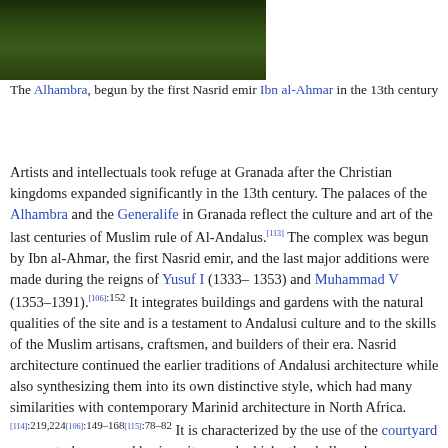[Figure (photo): Aerial or elevated view of the Alhambra palace complex surrounded by dense green trees/forest]
The Alhambra, begun by the first Nasrid emir Ibn al-Ahmar in the 13th century
Artists and intellectuals took refuge at Granada after the Christian kingdoms expanded significantly in the 13th century. The palaces of the Alhambra and the Generalife in Granada reflect the culture and art of the last centuries of Muslim rule of Al-Andalus.[113] The complex was begun by Ibn al-Ahmar, the first Nasrid emir, and the last major additions were made during the reigns of Yusuf I (1333–1353) and Muhammad V (1353–1391).[106]:152 It integrates buildings and gardens with the natural qualities of the site and is a testament to Andalusi culture and to the skills of the Muslim artisans, craftsmen, and builders of their era. Nasrid architecture continued the earlier traditions of Andalusi architecture while also synthesizing them into its own distinctive style, which had many similarities with contemporary Marinid architecture in North Africa.[114]:219,224[106]:149–168[115]:78–82 It is characterized by the use of the courtyard as a central space and basic unit around which other halls and rooms were organized. Courtyards typically had water features at their center, such as a reflective pool or a fountain. Decoration was focused on the inside of buildings and was executed primarily with tile mosaics on lower walls and